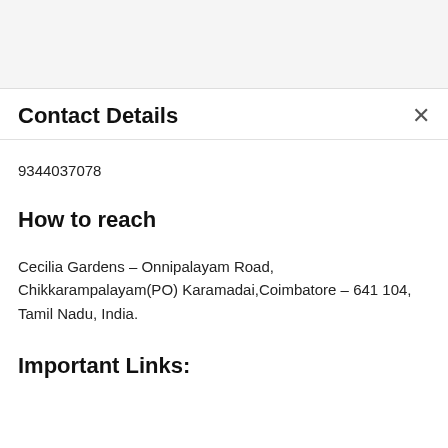Contact Details
9344037078
How to reach
Cecilia Gardens – Onnipalayam Road, Chikkarampalayam(PO) Karamadai,Coimbatore – 641 104, Tamil Nadu, India.
Important Links: